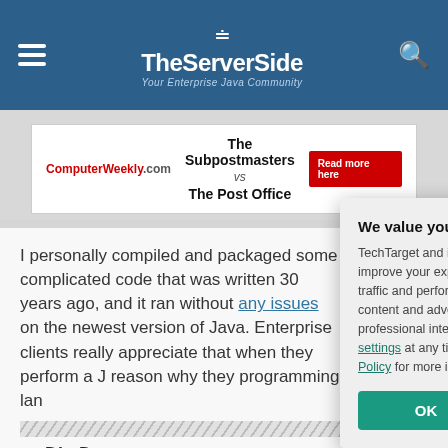TheServerSide — Your Enterprise Java Community
[Figure (screenshot): Advertisement banner: ComputerWeekly.com — The Subpostmasters vs The Post Office — Read more here]
I personally compiled and packaged some complicated code that was written 30 years ago, and it ran without any issues on the newest version of Java. Enterprise clients really appreciate that when they perform a Java upgrade, a big part of the reason why they chose the Java programming language — [continues]
Dig Deep [into cloud programming technology]
[Figure (screenshot): Black promo strip: 11 cloud progr[amming languages]]
We value your privacy.
TechTarget and its partners employ cookies to improve your experience on our site, to analyze traffic and performance, and to serve personalized content and advertising that are relevant to your professional interests. You can manage your settings at any time. Please view our Privacy Policy for more information